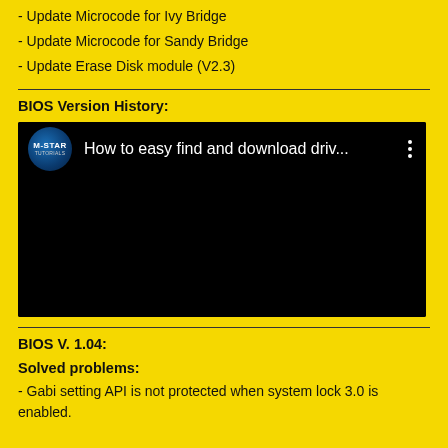- Update Microcode for Ivy Bridge
- Update Microcode for Sandy Bridge
- Update Erase Disk module (V2.3)
BIOS Version History:
[Figure (screenshot): YouTube-style video thumbnail showing M-STAR TUTORIALS channel icon and title 'How to easy find and download driv...' on a black background with three-dot menu]
BIOS V. 1.04:
Solved problems:
- Gabi setting API is not protected when system lock 3.0 is enabled.